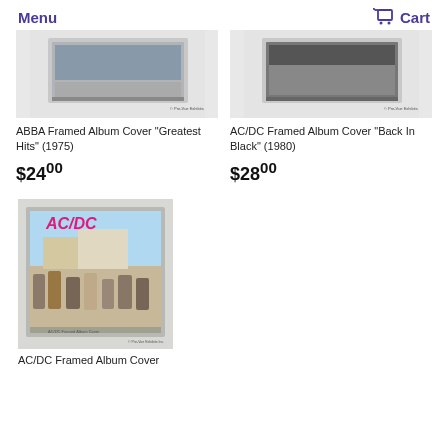Menu | Cart
[Figure (photo): ABBA Framed Album Cover photo - framed artwork on white background]
ABBA Framed Album Cover "Greatest Hits" (1975)
$24.00
[Figure (photo): AC/DC Framed Album Cover photo - framed black artwork on white background]
AC/DC Framed Album Cover "Back In Black" (1980)
$28.00
[Figure (photo): AC/DC Framed Album Cover photo showing band members on street scene]
AC/DC Framed Album Cover